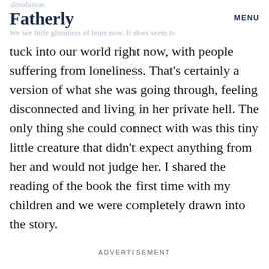desolation. Fatherly MENU We see little glimmers of hope now. It does seem to
tuck into our world right now, with people suffering from loneliness. That's certainly a version of what she was going through, feeling disconnected and living in her private hell. The only thing she could connect with was this tiny little creature that didn't expect anything from her and would not judge her. I shared the reading of the book the first time with my children and we were completely drawn into the story.
ADVERTISEMENT